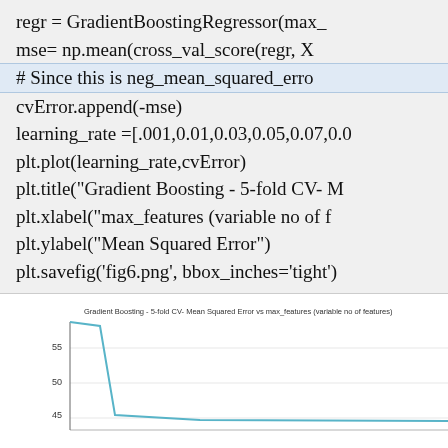regr = GradientBoostingRegressor(max_
mse= np.mean(cross_val_score(regr, X
# Since this is neg_mean_squared_erro
cvError.append(-mse)
learning_rate =[.001,0.01,0.03,0.05,0.07,0.0
plt.plot(learning_rate,cvError)
plt.title("Gradient Boosting - 5-fold CV- M
plt.xlabel("max_features (variable no of f
plt.ylabel("Mean Squared Error")
plt.savefig('fig6.png', bbox_inches='tight')
[Figure (line-chart): Line chart showing Mean Squared Error vs max_features, with a sharp drop from ~57 at the start down to around 45, partially visible]